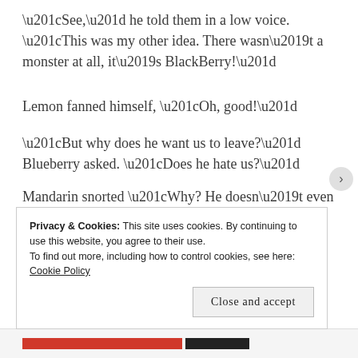“See,” he told them in a low voice. “This was my other idea. There wasn’t a monster at all, it’s BlackBerry!”
Lemon fanned himself, “Oh, good!”
“But why does he want us to leave?” Blueberry asked. “Does he hate us?”
Mandarin snorted “Why? He doesn’t even know us!”
Privacy & Cookies: This site uses cookies. By continuing to use this website, you agree to their use. To find out more, including how to control cookies, see here: Cookie Policy
Close and accept